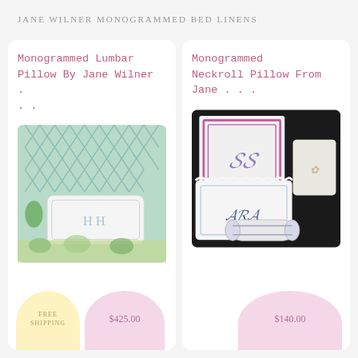Jane Wilner Monogrammed Bed Linens
[Figure (photo): Monogrammed lumbar pillow with blue/green lattice background bedding by Jane Wilner]
Monogrammed Lumbar Pillow By Jane Wilner . . .
$425.00
FREE SHIPPING
[Figure (photo): Monogrammed neckroll pillow and assorted monogrammed pillows on dark background by Jane Wilner]
Monogrammed Neckroll Pillow From Jane . . .
$140.00